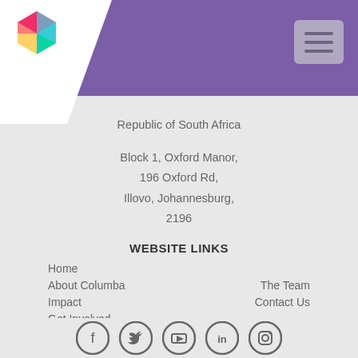[Figure (logo): Colorful geometric cube logo (Columba) on white background with purple navigation bar and hamburger menu button]
Republic of South Africa
Block 1, Oxford Manor,
196 Oxford Rd,
Illovo, Johannesburg,
2196
WEBSITE LINKS
Home
About Columba
Impact
Get Involved
News & Events
The Team
Contact Us
[Figure (infographic): Social media icons: Facebook, Twitter, YouTube, LinkedIn, Instagram — dark grey circular icons in a row]